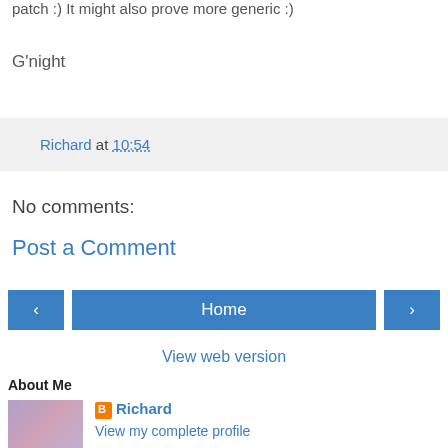patch :)  It might also prove more generic :)
G'night
Richard at 10:54
No comments:
Post a Comment
Home
View web version
About Me
Richard
View my complete profile